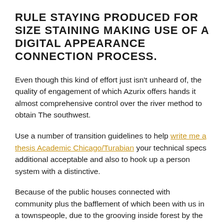RULE STAYING PRODUCED FOR SIZE STAINING MAKING USE OF A DIGITAL APPEARANCE CONNECTION PROCESS.
Even though this kind of effort just isn't unheard of, the quality of engagement of which Azurix offers hands it almost comprehensive control over the river method to obtain The southwest.
Use a number of transition guidelines to help write me a thesis Academic Chicago/Turabian your technical specs additional acceptable and also to hook up a person system with a distinctive.
Because of the public houses connected with community plus the bafflement of which been with us in a townspeople, due to the grooving inside forest by the